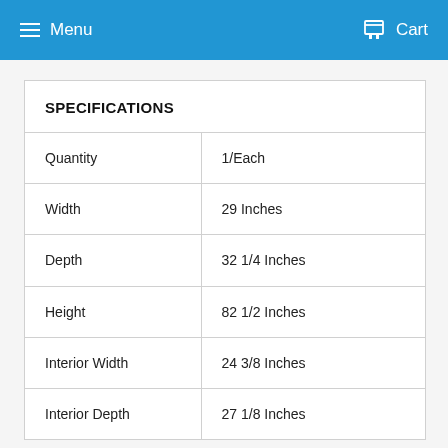Menu  Cart
| SPECIFICATIONS |  |
| --- | --- |
| Quantity | 1/Each |
| Width | 29 Inches |
| Depth | 32 1/4 Inches |
| Height | 82 1/2 Inches |
| Interior Width | 24 3/8 Inches |
| Interior Depth | 27 1/8 Inches |